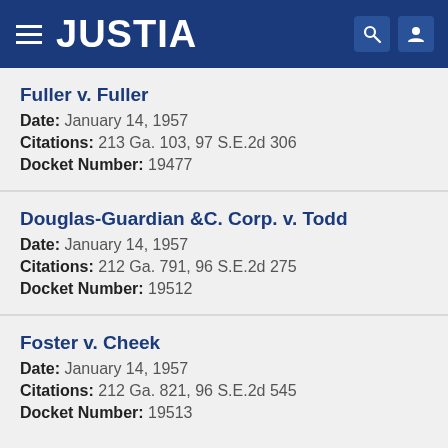JUSTIA
Fuller v. Fuller
Date: January 14, 1957
Citations: 213 Ga. 103, 97 S.E.2d 306
Docket Number: 19477
Douglas-Guardian &C. Corp. v. Todd
Date: January 14, 1957
Citations: 212 Ga. 791, 96 S.E.2d 275
Docket Number: 19512
Foster v. Cheek
Date: January 14, 1957
Citations: 212 Ga. 821, 96 S.E.2d 545
Docket Number: 19513